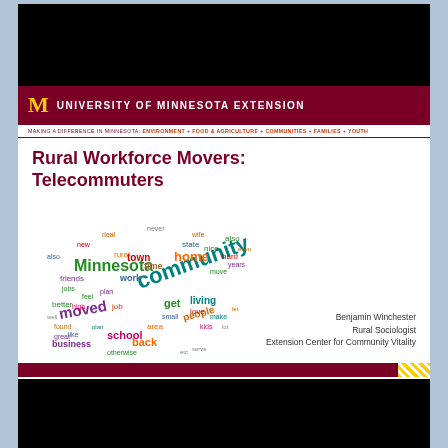University of Minnesota Extension
MAKING A DIFFERENCE IN MINNESOTA: ENVIRONMENT + FOOD & AGRICULTURE + COMMUNITIES + FAMILIES + YOUTH
Rural Workforce Movers: Telecommuters
[Figure (illustration): Word cloud featuring words related to rural community living and moving, including: community, Minnesota, moved, home, living, people, town, get, work, time, friends, jobs, back, school, business, state, nice, hard, rural, love, small, make, feel, plan, better, area, etc.]
Benjamin Winchester
Rural Sociologist
Extension Center for Community Vitality